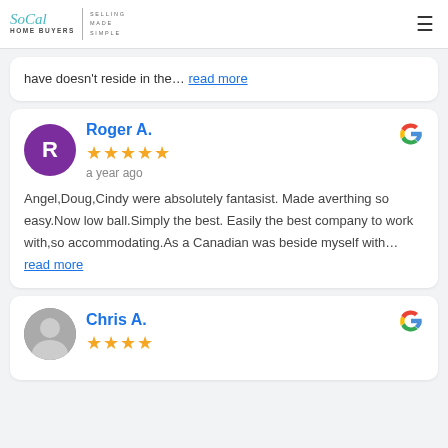SoCal Home Buyers — Selling Made Simple
have doesn't reside in the… read more
Roger A. — a year ago — 5 stars — Angel,Doug,Cindy were absolutely fantasist. Made averthing so easy.Now low ball.Simply the best. Easily the best company to work with,so accommodating.As a Canadian was beside myself with… read more
Chris A.